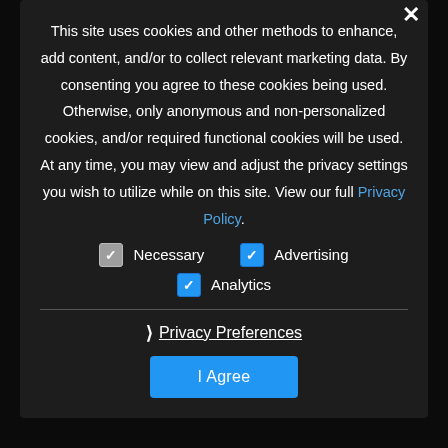This site uses cookies and other methods to enhance, add content, and/or to collect relevant marketing data. By consenting you agree to these cookies being used. Otherwise, only anonymous and non-personalized cookies, and/or required functional cookies will be used. At any time, you may view and adjust the privacy settings you wish to utilize while on this site. View our full Privacy Policy.
Necessary (unchecked)
Advertising (checked)
Analytics (checked)
› Privacy Preferences
I Agree